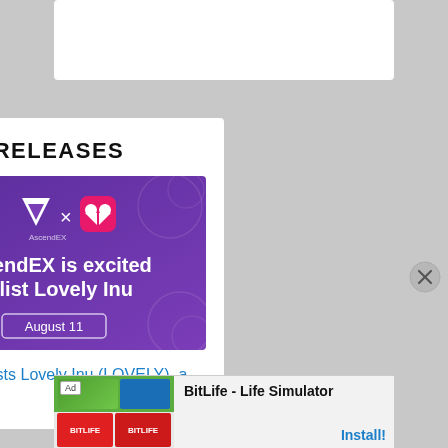PRESS RELEASES
[Figure (illustration): AscendEX promotional banner with purple gradient background showing AscendEX logo x heart logo. Text reads: AscendEX is excited to list Lovely Inu, August 11]
AscendEX Lists Lovely Inu (LOVELY), a DeFi ...
[Figure (screenshot): Advertisement banner for BitLife - Life Simulator app with Ad label, app icon images on left, app name and Install button on right]